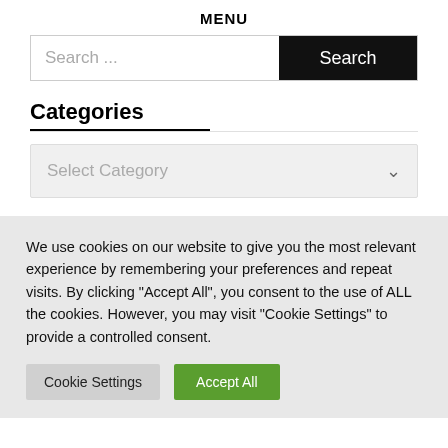MENU
Search ...
Categories
Select Category
We use cookies on our website to give you the most relevant experience by remembering your preferences and repeat visits. By clicking "Accept All", you consent to the use of ALL the cookies. However, you may visit "Cookie Settings" to provide a controlled consent.
Cookie Settings
Accept All